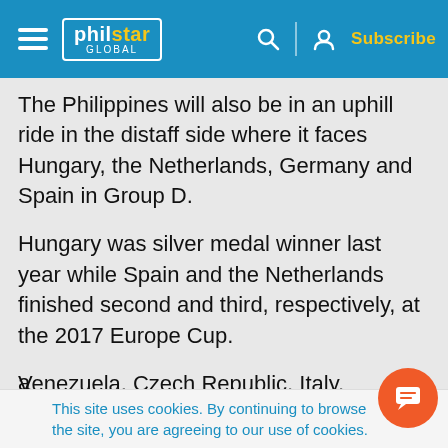philstar GLOBAL — Subscribe
The Philippines will also be in an uphill ride in the distaff side where it faces Hungary, the Netherlands, Germany and Spain in Group D.
Hungary was silver medal winner last year while Spain and the Netherlands finished second and third, respectively, at the 2017 Europe Cup.
Venezuela, Czech Republic, Italy, Malaysia and Turkmenistan are in Group A, China, France, Kazakhstan, Switzerland and Argentina in Group B
This site uses cookies. By continuing to browse the site, you are agreeing to our use of cookies.